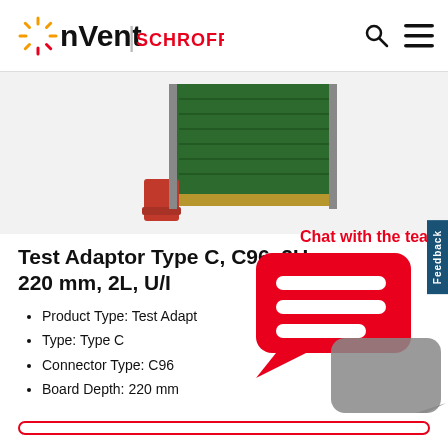nVent | SCHROFF
[Figure (photo): Product photo showing a Test Adaptor Type C circuit board with green PCB and red ejector handles, partially visible]
Test Adaptor Type C, C96, 2U, 220 mm, 2L, U/I
Product Type: Test Adaptor
Type: Type C
Connector Type: C96
Board Depth: 220 mm
SHOW MORE